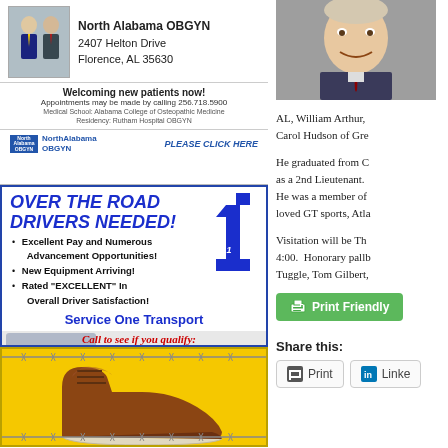[Figure (infographic): North Alabama OBGYN advertisement with address 2407 Helton Drive, Florence AL 35630, welcoming new patients, appointments 256.718.5900]
[Figure (infographic): Service One Transport ad: Over The Road Drivers Needed! Excellent Pay and Numerous Advancement Opportunities! New Equipment Arriving! Rated EXCELLENT in Overall Driver Satisfaction! Call 256-314-5496. Nationally Recognized.]
[Figure (infographic): Boot advertisement on yellow background with barbed wire border, showing a brown leather work boot]
[Figure (photo): Portrait photo of elderly smiling man in suit and tie]
AL, William Arthur, Carol Hudson of Gre
He graduated from C as a 2nd Lieutenant. He was a member of loved GT sports, Atla
Visitation will be Th 4:00. Honorary pallb Tuggle, Tom Gilbert,
Print Friendly
Share this:
Print
Linke